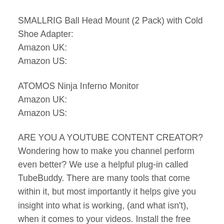SMALLRIG Ball Head Mount (2 Pack) with Cold Shoe Adapter:
Amazon UK:
Amazon US:
ATOMOS Ninja Inferno Monitor
Amazon UK:
Amazon US:
ARE YOU A YOUTUBE CONTENT CREATOR?
Wondering how to make you channel perform even better? We use a helpful plug-in called TubeBuddy. There are many tools that come within it, but most importantly it helps give you insight into what is working, (and what isn't), when it comes to your videos. Install the free version to see if it is what you are looking for: